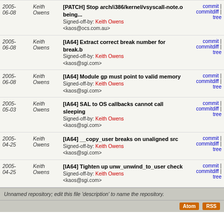| Date | Author | Commit | Links |
| --- | --- | --- | --- |
| 2005-06-08 | Keith Owens | [PATCH] Stop arch/i386/kernel/vsyscall-note.o being...
Signed-off-by: Keith Owens <kaos@ocs.com.au> | commit | commitdiff | tree |
| 2005-06-08 | Keith Owens | [IA64] Extract correct break number for break.b
Signed-off-by: Keith Owens <kaos@sgi.com> | commit | commitdiff | tree |
| 2005-06-08 | Keith Owens | [IA64] Module gp must point to valid memory
Signed-off-by: Keith Owens <kaos@sgi.com> | commit | commitdiff | tree |
| 2005-05-03 | Keith Owens | [IA64] SAL to OS callbacks cannot call sleeping
Signed-off-by: Keith Owens <kaos@sgi.com> | commit | commitdiff | tree |
| 2005-04-25 | Keith Owens | [IA64] __copy_user breaks on unaligned src
Signed-off-by: Keith Owens <kaos@sgi.com> | commit | commitdiff | tree |
| 2005-04-25 | Keith Owens | [IA64] Tighten up unw_unwind_to_user check
Signed-off-by: Keith Owens <kaos@sgi.com> | commit | commitdiff | tree |
Unnamed repository; edit this file 'description' to name the repository.